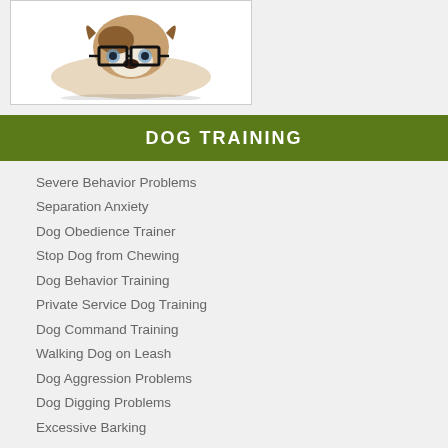[Figure (photo): A Jack Russell Terrier dog wearing large black-rimmed glasses, lying down with paws forward, looking studious.]
DOG TRAINING
Severe Behavior Problems
Separation Anxiety
Dog Obedience Trainer
Stop Dog from Chewing
Dog Behavior Training
Private Service Dog Training
Dog Command Training
Walking Dog on Leash
Dog Aggression Problems
Dog Digging Problems
Excessive Barking